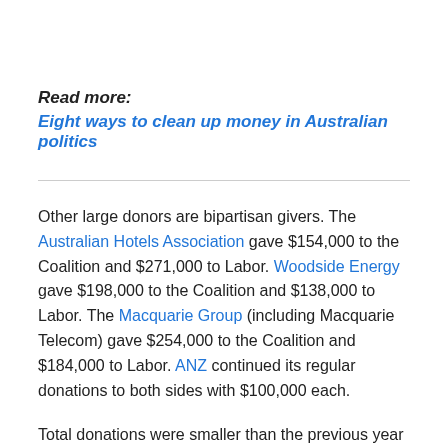Read more:
Eight ways to clean up money in Australian politics
Other large donors are bipartisan givers. The Australian Hotels Association gave $154,000 to the Coalition and $271,000 to Labor. Woodside Energy gave $198,000 to the Coalition and $138,000 to Labor. The Macquarie Group (including Macquarie Telecom) gave $254,000 to the Coalition and $184,000 to Labor. ANZ continued its regular donations to both sides with $100,000 each.
Total donations were smaller than the previous year (an